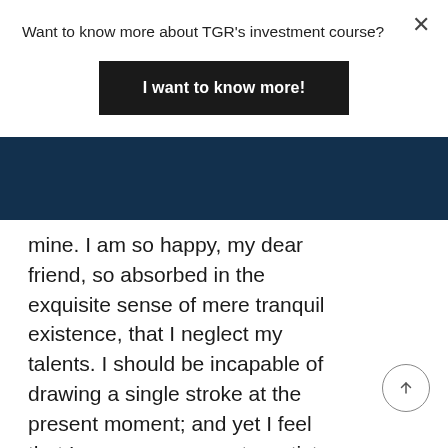Want to know more about TGR's investment course?
I want to know more!
[Figure (screenshot): Dark navy blue banner/header bar across the page]
mine. I am so happy, my dear friend, so absorbed in the exquisite sense of mere tranquil existence, that I neglect my talents. I should be incapable of drawing a single stroke at the present moment; and yet I feel that I never was a greater artist than now. When, while the lovely valley teems with vapor around me, and the meridian sun strikes the upper surface of the impenetrable